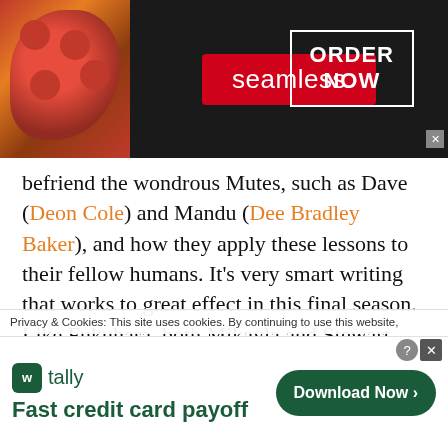[Figure (screenshot): Seamless food delivery advertisement banner with pizza image on left, Seamless red logo in center, ORDER NOW button on right, on dark background]
befriend the wondrous Mutes, such as Dave (Deon Cole) and Mandu (Dee Bradley Baker), and how they apply these lessons to their fellow humans. It’s very smart writing that works to great effect in this final season. Like Fukuhara, both Mikayla and Stewart give some of their best performances of the series. They get to experience more joy and growth as Wolf makes peace with her past and Benson continues his relationship with
Privacy & Cookies: This site uses cookies. By continuing to use this website,
[Figure (screenshot): Tally app advertisement: tally logo with green icon, tagline Fast credit card payoff, Download Now button in green]